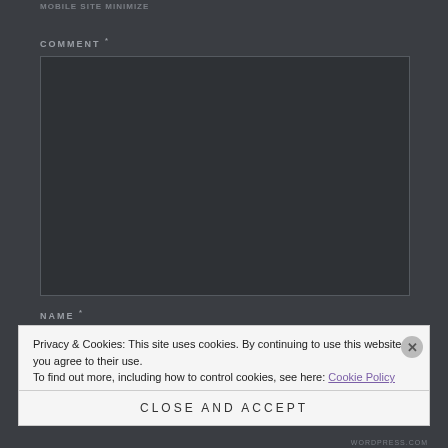MOBILE SITE MINIMIZE
COMMENT *
[Figure (screenshot): Dark textarea input field with resize handle]
NAME *
Privacy & Cookies: This site uses cookies. By continuing to use this website, you agree to their use.
To find out more, including how to control cookies, see here: Cookie Policy
Close and accept
WORDPRESS.COM